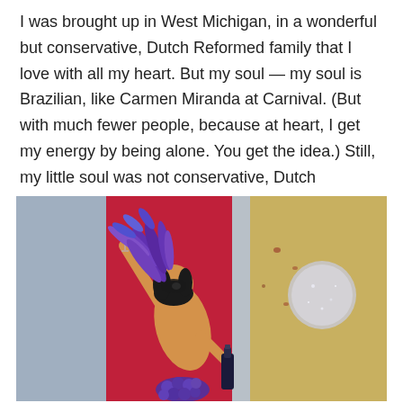I was brought up in West Michigan, in a wonderful but conservative, Dutch Reformed family that I love with all my heart. But my soul — my soul is Brazilian, like Carmen Miranda at Carnival. (But with much fewer people, because at heart, I get my energy by being alone. You get the idea.) Still, my little soul was not conservative, Dutch Reformed at all.
[Figure (illustration): Colorful painting of a stylized woman with purple feathered headpiece holding a wine glass in one hand and a wine bottle in the other, with grapes at her feet, set against a red and gold background with a silver glitter disc on the right.]